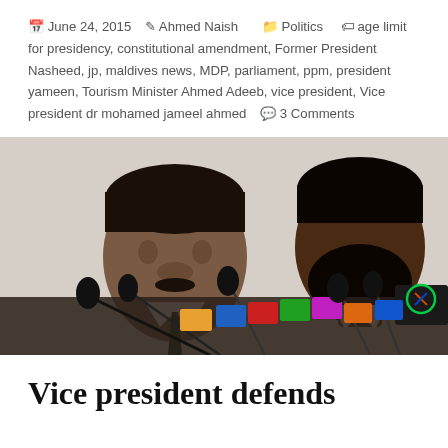June 24, 2015  Ahmed Naish  Politics  age limit for presidency, constitutional amendment, Former President Nasheed, jp, maldives news, MDP, parliament, ppm, president yameen, Tourism Minister Ahmed Adeeb, vice president, Vice president dr mohamed jameel ahmed  3 Comments
[Figure (photo): Two men in white dress shirts seated at a press conference table with multiple microphones in front of them. The man on the left is speaking and wearing a dark tie. The man on the right has a beard and is looking down. A TV camera logo is visible on the right.]
Vice president defends